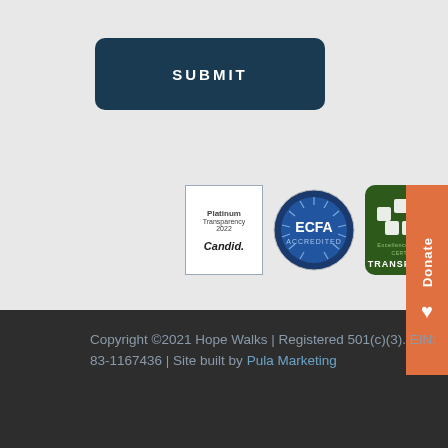[Figure (other): Submit button - dark navy rounded rectangle with white bold uppercase text SUBMIT]
[Figure (other): Row of four accreditation/transparency badges: Platinum Transparency 2022 Candid, ECFA Accredited circular badge, Excellence in Giving Certified Transparent badge, 2020 Top-Rated Nonprofits badge]
[Figure (other): Orange Donate tab on the right edge with heart icon]
Copyright ©2021 Hope Walks | Registered 501(c)(3). EIN: 83-1167436 | Site built by Pula Marketing